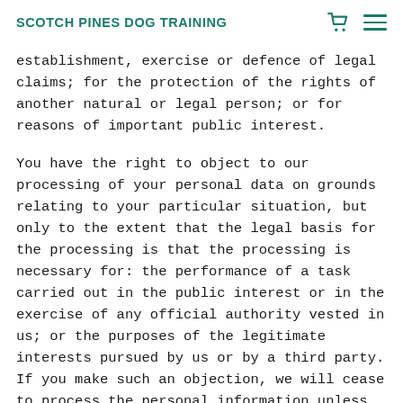SCOTCH PINES DOG TRAINING
establishment, exercise or defence of legal claims; for the protection of the rights of another natural or legal person; or for reasons of important public interest.
You have the right to object to our processing of your personal data on grounds relating to your particular situation, but only to the extent that the legal basis for the processing is that the processing is necessary for: the performance of a task carried out in the public interest or in the exercise of any official authority vested in us; or the purposes of the legitimate interests pursued by us or by a third party. If you make such an objection, we will cease to process the personal information unless we can demonstrate compelling legitimate grounds for the processing which override your interests, rights and freedoms, or the processing is for the establishment